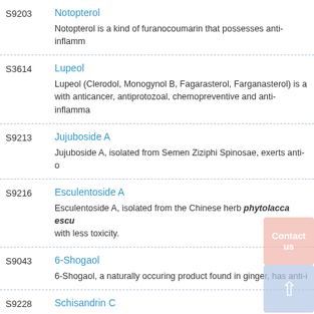S9203 Notopterol - Notopterol is a kind of furanocoumarin that possesses anti-inflammatory...
S3614 Lupeol - Lupeol (Clerodol, Monogynol B, Fagarasterol, Farganasterol) is a ... with anticancer, antiprotozoal, chemopreventive and anti-inflammatory...
S9213 Jujuboside A - Jujuboside A, isolated from Semen Ziziphi Spinosae, exerts anti-o...
S9216 Esculentoside A - Esculentoside A, isolated from the Chinese herb phytolacca escu... with less toxicity.
S9043 6-Shogaol - 6-Shogaol, a naturally occuring product found in ginger, has anti-i...
S9228 Schisandrin C - Schisandrin C, a dibenzocyclooctadiene lignan isolated from the f... inflammation, anti-tumor, and anti-oxidation.